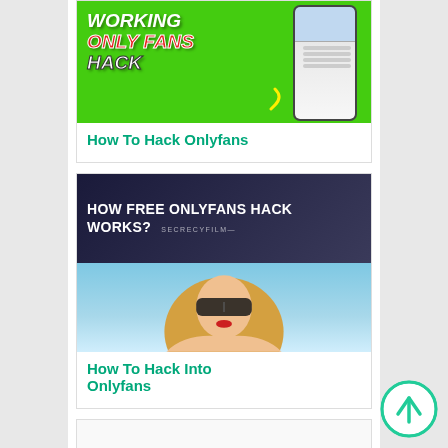[Figure (photo): Thumbnail image with green background showing 'WORKING ONLY FANS HACK' text and a phone mockup]
How To Hack Onlyfans
[Figure (photo): YouTube video thumbnail split into two halves: top dark overlay with text 'HOW FREE ONLYFANS HACK WORKS?' and bottom showing woman with sunglasses against blue sky]
How To Hack Into Onlyfans